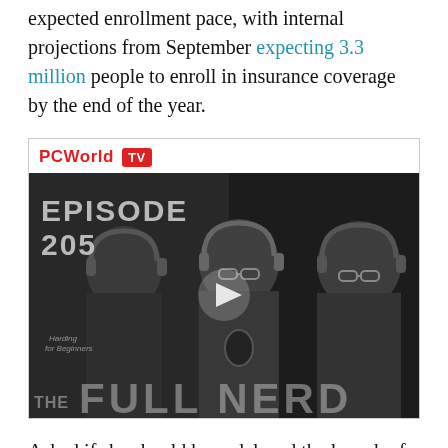expected enrollment pace, with internal projections from September expecting 3.3 million people to enroll in insurance coverage by the end of the year.
[Figure (screenshot): PCWorld TV video thumbnail showing Episode 205 of The Full Nerd podcast with three hosts wearing headphones, a play button in the center, and 'THE FULL NERD' text at the bottom.]
Asked if she should have delayed the launch of HealthCare.gov, she declined to offer an direct...